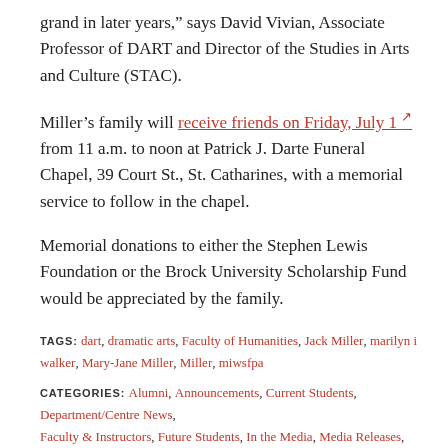grand in later years,” says David Vivian, Associate Professor of DART and Director of the Studies in Arts and Culture (STAC).
Miller’s family will receive friends on Friday, July 1 [external link] from 11 a.m. to noon at Patrick J. Darte Funeral Chapel, 39 Court St., St. Catharines, with a memorial service to follow in the chapel.
Memorial donations to either the Stephen Lewis Foundation or the Brock University Scholarship Fund would be appreciated by the family.
TAGS: dart, dramatic arts, Faculty of Humanities, Jack Miller, marilyn i walker, Mary-Jane Miller, Miller, miwsfpa
CATEGORIES: Alumni, Announcements, Current Students, Department/Centre News, Faculty & Instructors, Future Students, In the Media, Media Releases, News